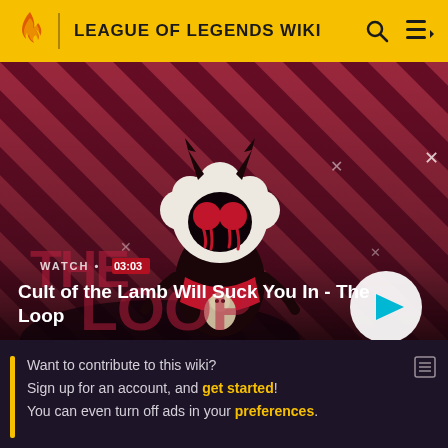LEAGUE OF LEGENDS WIKI
[Figure (screenshot): Video thumbnail showing a cartoon lamb character with devil horns and red eyes wearing a dark outfit against a red and dark purple diagonal striped background. Shows 'WATCH • 03:03' label and title 'Cult of the Lamb Will Suck You In - The Loop' with a play button on the right.]
Want to contribute to this wiki?
Sign up for an account, and get started!
You can even turn off ads in your preferences.